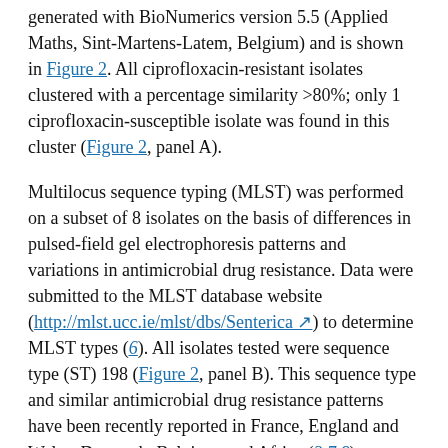generated with BioNumerics version 5.5 (Applied Maths, Sint-Martens-Latem, Belgium) and is shown in Figure 2. All ciprofloxacin-resistant isolates clustered with a percentage similarity >80%; only 1 ciprofloxacin-susceptible isolate was found in this cluster (Figure 2, panel A).
Multilocus sequence typing (MLST) was performed on a subset of 8 isolates on the basis of differences in pulsed-field gel electrophoresis patterns and variations in antimicrobial drug resistance. Data were submitted to the MLST database website (http://mlst.ucc.ie/mlst/dbs/Senterica) to determine MLST types (6). All isolates tested were sequence type (ST) 198 (Figure 2, panel B). This sequence type and similar antimicrobial drug resistance patterns have been recently reported in France, England and Wales, Denmark, Belgium, and Africa (3,7,8).